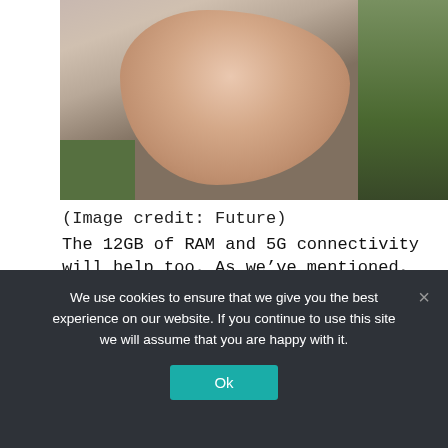[Figure (photo): A hand holding a small object (likely a microSD card or SIM card) photographed outdoors with a green background — image credit: Future]
(Image credit: Future)
The 12GB of RAM and 5G connectivity will help too. As we’ve mentioned, the 1 IV in the UK gets 256GB of built-in storage while in the US there’s 512GB, but both have a microSD card slot for up to 1TB extra.
We use cookies to ensure that we give you the best experience on our website. If you continue to use this site we will assume that you are happy with it.